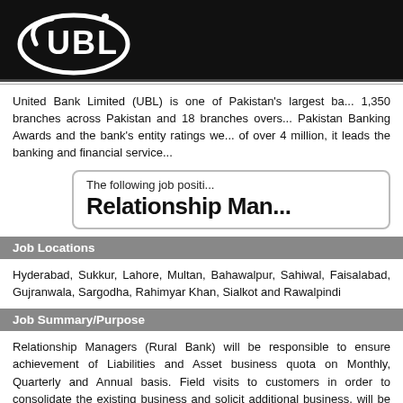[Figure (logo): UBL (United Bank Limited) white logo on black background — oval shape with UBL text]
United Bank Limited (UBL) is one of Pakistan's largest ba... 1,350 branches across Pakistan and 18 branches overs... Pakistan Banking Awards and the bank's entity ratings we... of over 4 million, it leads the banking and financial service...
The following job positi...
Relationship Man...
Job Locations
Hyderabad, Sukkur, Lahore, Multan, Bahawalpur, Sahiwal, Faisalabad, Gujranwala, Sargodha, Rahimyar Khan, Sialkot and Rawalpindi
Job Summary/Purpose
Relationship Managers (Rural Bank) will be responsible to ensure achievement of Liabilities and Asset business quota on Monthly, Quarterly and Annual basis. Field visits to customers in order to consolidate the existing business and solicit additional business, will be the key responsibility of RMs - Rural Bank...